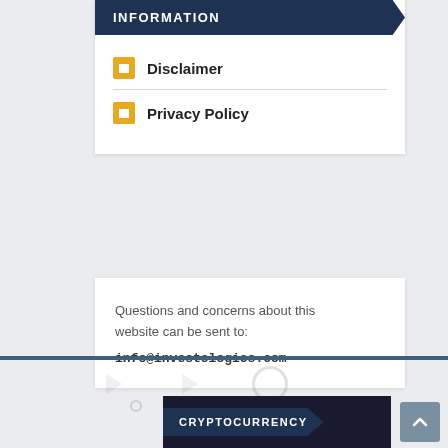INFORMATION
Disclaimer
Privacy Policy
Questions and concerns about this website can be sent to:
info@investologics.com
CRYPTOCURRENCY